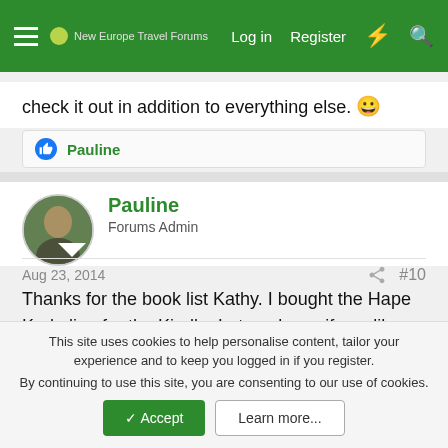New Europe Travel Forums — Log in | Register
check it out in addition to everything else. 🙂
👍 Pauline
Pauline
Forums Admin
Aug 23, 2014  #10
Thanks for the book list Kathy. I bought the Hape Kerkeling for the Kindle. Let me know if you like the other ones you got.

I picked up a few maps about the trail in Spain and France. I also got The Roads to Santiego de Compostela, which I need to
This site uses cookies to help personalise content, tailor your experience and to keep you logged in if you register.
By continuing to use this site, you are consenting to our use of cookies.
✓ Accept    Learn more...